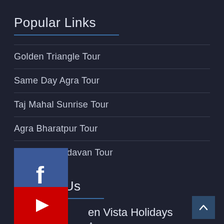Popular Links
Golden Triangle Tour
Same Day Agra Tour
Taj Mahal Sunrise Tour
Agra Bharatpur Tour
Mathura Vrindavan Tour
Contact Us
[Figure (logo): Facebook logo icon — blue square with white 'f']
Golden Vista Holidays
[Figure (logo): YouTube logo icon — red rectangle with white play button]
Address:
Prateek Center, Sanjay Place,